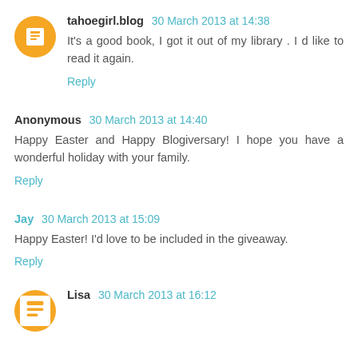tahoegirl.blog 30 March 2013 at 14:38
It's a good book, I got it out of my library . I d like to read it again.
Reply
Anonymous 30 March 2013 at 14:40
Happy Easter and Happy Blogiversary! I hope you have a wonderful holiday with your family.
Reply
Jay 30 March 2013 at 15:09
Happy Easter! I'd love to be included in the giveaway.
Reply
Lisa 30 March 2013 at 16:12